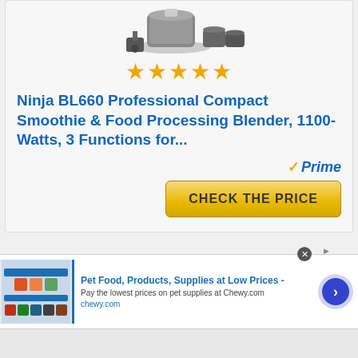[Figure (photo): Ninja BL660 blender product image showing blender jar, accessories and parts on white background]
★★★★★
Ninja BL660 Professional Compact Smoothie & Food Processing Blender, 1100-Watts, 3 Functions for...
[Figure (logo): Amazon Prime badge with orange checkmark and blue italic Prime text]
CHECK THE PRICE
The Ninja is ideal for mixing kale as well as other foods in the next few seconds, because as the name implies. Moreover, the price is
[Figure (screenshot): Chewy.com advertisement banner showing pet food products with headline 'Pet Food, Products, Supplies at Low Prices -' and subtext 'Pay the lowest prices on pet supplies at Chewy.com']